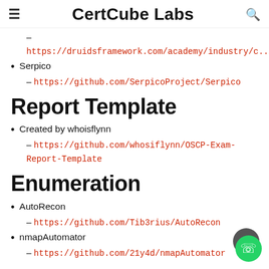CertCube Labs
– https://druidsframework.com/academy/industry/c...
Serpico – https://github.com/SerpicoProject/Serpico
Report Template
Created by whoisflynn – https://github.com/whosiflynn/OSCP-Exam-Report-Template
Enumeration
AutoRecon – https://github.com/Tib3rius/AutoRecon
nmapAutomator – https://github.com/21y4d/nmapAutomator
Web Related